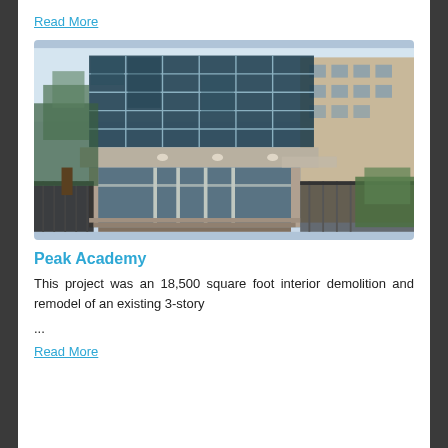Read More
[Figure (photo): Exterior photo of Peak Academy building — a multi-story structure with large glass curtain wall on upper floors and brick facade on the right side, with glass entrance doors and metal fencing in front, trees visible on left and right.]
Peak Academy
This project was an 18,500 square foot interior demolition and remodel of an existing 3-story
...
Read More